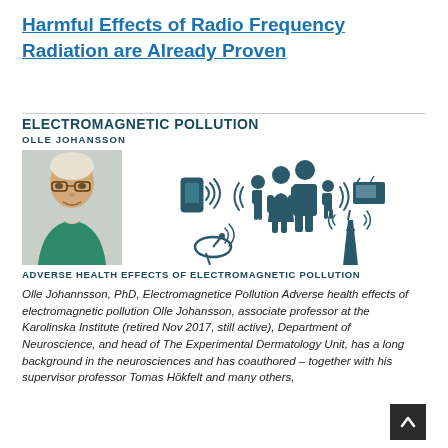Harmful Effects of Radio Frequency Radiation are Already Proven
[Figure (infographic): Infographic card titled 'ELECTROMAGNETIC POLLUTION' by OLLE JOHANSSON, showing a photo of an older man (Olle Johansson) on the left, and icons of wireless devices (mobile phone, family/people silhouettes, satellite dish, radio/TV) with radio waves on the right. Below is the subtitle 'ADVERSE HEALTH EFFECTS OF ELECTROMAGNETIC POLLUTION'.]
Olle Johannsson, PhD, Electromagnetice Pollution Adverse health effects of electromagnetic pollution Olle Johansson, associate professor at the Karolinska Institute (retired Nov 2017, still active), Department of Neuroscience, and head of The Experimental Dermatology Unit, has a long background in the neurosciences and has coauthored – together with his supervisor professor Tomas Hökfelt and many others,